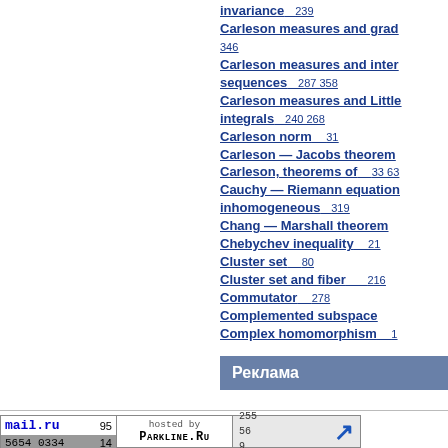invariance  239
Carleson measures and grad...  346
Carleson measures and inter... sequences  287 358
Carleson measures and Little... integrals  240 268
Carleson norm  31
Carleson — Jacobs theorem
Carleson, theorems of  33 63
Cauchy — Riemann equation inhomogeneous  319
Chang — Marshall theorem
Chebychev inequality  21
Cluster set  80
Cluster set and fiber  216
Commutator  278
Complemented subspace
Complex homomorphism  1
Реклама
mail.ru 95 | 5654 0334 14 | hosted by PARKLINE.RU | 255 56 9